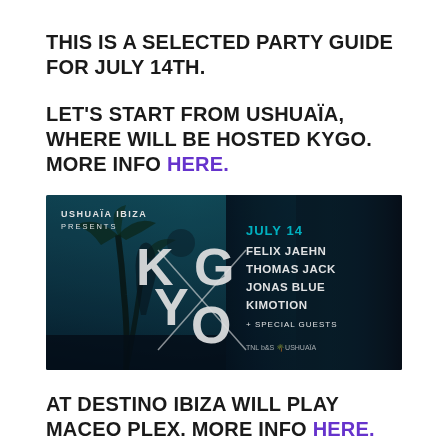THIS IS A SELECTED PARTY GUIDE FOR JULY 14TH.
LET'S START FROM USHUAÏA, WHERE WILL BE HOSTED KYGO. MORE INFO HERE.
[Figure (photo): Event poster for Ushuaia Ibiza Presents Kygo on July 14, featuring Felix Jaehn, Thomas Jack, Jonas Blue, Kimotion + Special Guests. Dark teal/blue background with palm trees and a DJ silhouette.]
AT DESTINO IBIZA WILL PLAY MACEO PLEX. MORE INFO HERE.